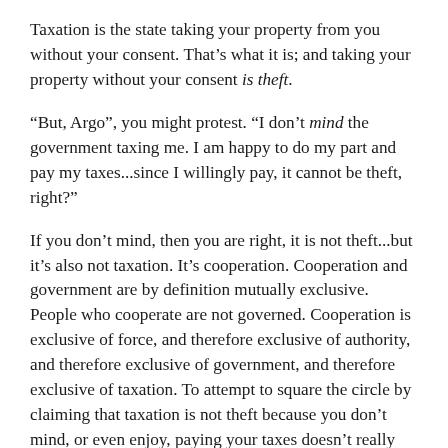Taxation is the state taking your property from you without your consent. That's what it is; and taking your property without your consent is theft.
“But, Argo”, you might protest. “I don’t mind the government taxing me. I am happy to do my part and pay my taxes...since I willingly pay, it cannot be theft, right?”
If you don’t mind, then you are right, it is not theft...but it’s also not taxation. It’s cooperation. Cooperation and government are by definition mutually exclusive. People who cooperate are not governed. Cooperation is exclusive of force, and therefore exclusive of authority, and therefore exclusive of government, and therefore exclusive of taxation. To attempt to square the circle by claiming that taxation is not theft because you don’t mind, or even enjoy, paying your taxes doesn’t really work. Because it’s not up to you anyway. That is, your statement that you don’t mind being taxed is a complete non-